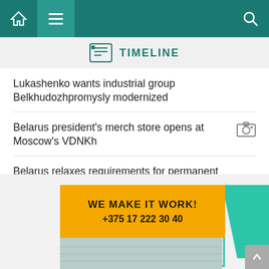TIMELINE
Lukashenko wants industrial group Belkhudozhpromysly modernized
Belarus president's merch store opens at Moscow's VDNKh
Belarus relaxes requirements for permanent residence permit
China branch of BRICS Institute, Belarusian commodity exchange to develop cooperation in e-commerce
[Figure (illustration): Advertisement banner with yellow rectangle reading 'WE MAKE IT WORK! +375 17 222 30 40', teal geometric shapes, and partial photo of an office/plant scene.]